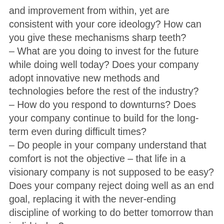and improvement from within, yet are consistent with your core ideology? How can you give these mechanisms sharp teeth?
– What are you doing to invest for the future while doing well today? Does your company adopt innovative new methods and technologies before the rest of the industry?
– How do you respond to downturns? Does your company continue to build for the long-term even during difficult times?
– Do people in your company understand that comfort is not the objective – that life in a visionary company is not supposed to be easy? Does your company reject doing well as an end goal, replacing it with the never-ending discipline of working to do better tomorrow than is did today?